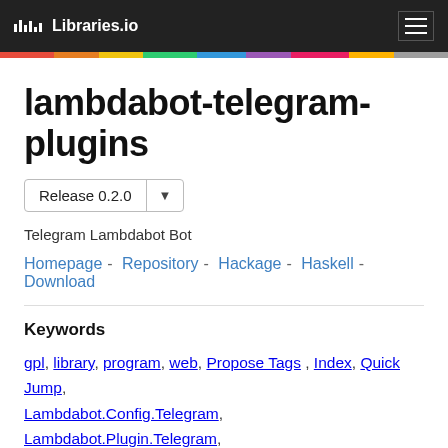Libraries.io
lambdabot-telegram-plugins
Release 0.2.0
Telegram Lambdabot Bot
Homepage - Repository - Hackage - Haskell - Download
Keywords
gpl, library, program, web, Propose Tags , Index, Quick Jump, Lambdabot.Config.Telegram, Lambdabot.Plugin.Telegram, Lambdabot.Plugin.Telegram.Bot, Lambdabot.Plugin.Telegram.Bot.Generic, Lambdabot.Plugin.Telegram.Callback,